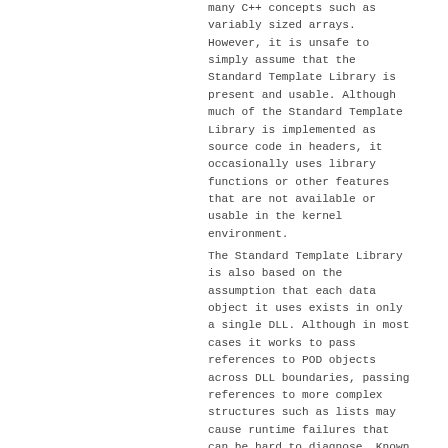many C++ concepts such as variably sized arrays. However, it is unsafe to simply assume that the Standard Template Library is present and usable. Although much of the Standard Template Library is implemented as source code in headers, it occasionally uses library functions or other features that are not available or usable in the kernel environment.
The Standard Template Library is also based on the assumption that each data object it uses exists in only a single DLL. Although in most cases it works to pass references to POD objects across DLL boundaries, passing references to more complex structures such as lists may cause runtime failures that can be hard to diagnose. Known issues include the fact that